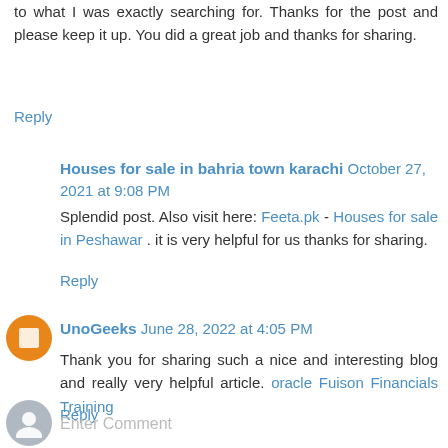to what I was exactly searching for. Thanks for the post and please keep it up. You did a great job and thanks for sharing.
Reply
Houses for sale in bahria town karachi October 27, 2021 at 9:08 PM
Splendid post. Also visit here: Feeta.pk - Houses for sale in Peshawar . it is very helpful for us thanks for sharing.
Reply
UnoGeeks June 28, 2022 at 4:05 PM
Thank you for sharing such a nice and interesting blog and really very helpful article. oracle Fuison Financials Training
Reply
Enter Comment